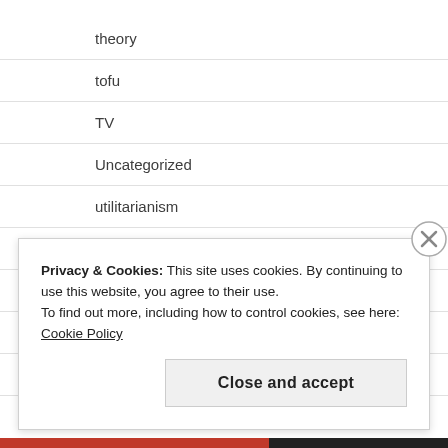theory
tofu
TV
Uncategorized
utilitarianism
veg*nism
vegan cooking
vegan food
vegan recipes
Privacy & Cookies: This site uses cookies. By continuing to use this website, you agree to their use.
To find out more, including how to control cookies, see here: Cookie Policy
Close and accept